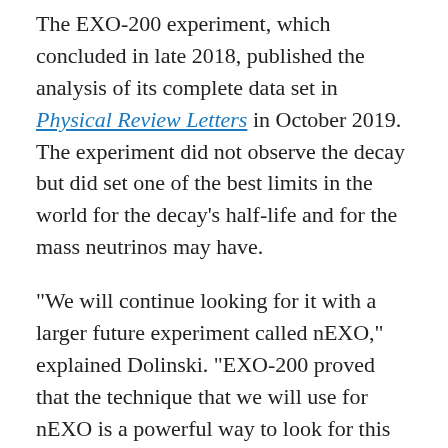The EXO-200 experiment, which concluded in late 2018, published the analysis of its complete data set in Physical Review Letters in October 2019. The experiment did not observe the decay but did set one of the best limits in the world for the decay's half-life and for the mass neutrinos may have.
“We will continue looking for it with a larger future experiment called nEXO,” explained Dolinski. “EXO-200 proved that the technique that we will use for nEXO is a powerful way to look for this decay.”
“We went to extreme measures to eliminate as much residual radioactivity in the detector materials as we possibly could,” said Dolinski.
To eliminate backgrounds from cosmic rays, EXO-200 conducted the experiment at the Waste Isolation Pilot Plant (WIPP) in New Mexico, 2,100 feet below the surface in a salt